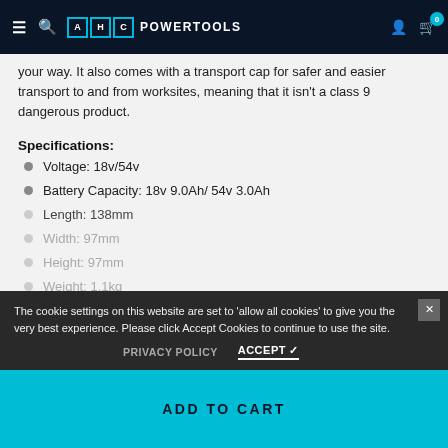AHC POWERTOOLS
your way. It also comes with a transport cap for safer and easier transport to and from worksites, meaning that it isn't a class 9 dangerous product.
Specifications:
Voltage: 18v/54v
Battery Capacity: 18v 9.0Ah/ 54v 3.0Ah
Length: 138mm
Width: 97mm
Height: 97mm
Weight: 1.1kg
The cookie settings on this website are set to 'allow all cookies' to give you the very best experience. Please click Accept Cookies to continue to use the site.
PRIVACY POLICY   ACCEPT ✔
ADD TO CART